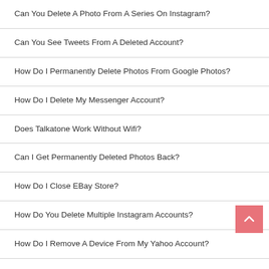Can You Delete A Photo From A Series On Instagram?
Can You See Tweets From A Deleted Account?
How Do I Permanently Delete Photos From Google Photos?
How Do I Delete My Messenger Account?
Does Talkatone Work Without Wifi?
Can I Get Permanently Deleted Photos Back?
How Do I Close EBay Store?
How Do You Delete Multiple Instagram Accounts?
How Do I Remove A Device From My Yahoo Account?
How Do I Delete My Contacts From Google?
How Do I Remove A Google Account From My IPhone?